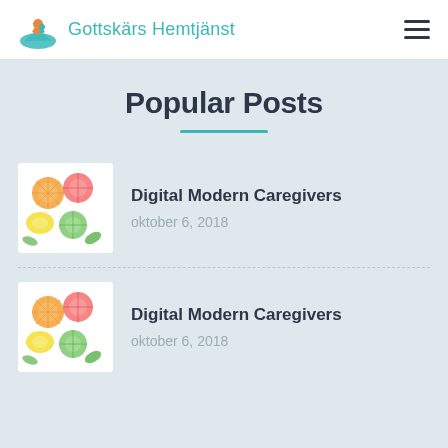Gottskärs Hemtjänst
Popular Posts
[Figure (illustration): Colorful sliced citrus fruits and vegetables arranged in a flat-lay style on white background]
Digital Modern Caregivers
oktober 6, 2018
[Figure (illustration): Colorful sliced citrus fruits and vegetables arranged in a flat-lay style on white background]
Digital Modern Caregivers
oktober 6, 2018